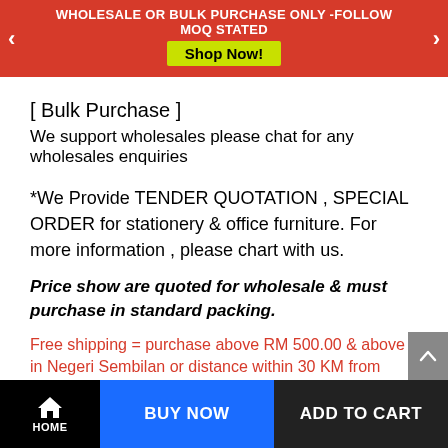WHOLESALE OR BULK PURCHASE ONLY -FOLLOW MOQ STATED
Shop Now!
[ Bulk Purchase ]
We support wholesales please chat for any wholesales enquiries
*We Provide TENDER QUOTATION , SPECIAL ORDER for stationery & office furniture. For more information , please chart with us.
Price show are quoted for wholesale & must purchase in standard packing.
Free shipping = purchase above RM 500.00 & above in Negeri Sembilan or distance within 30 KM from Seremban Town
HOME | BUY NOW | ADD TO CART